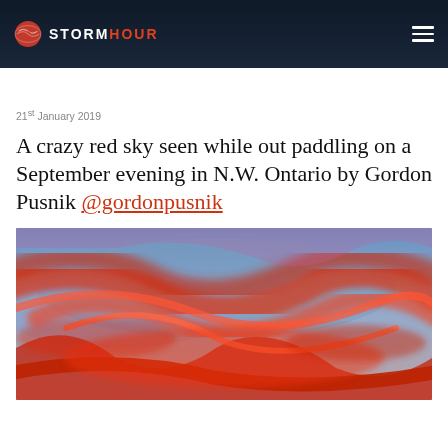STORMHOUR
21st January 2019
A crazy red sky seen while out paddling on a September evening in N.W. Ontario by Gordon Pusnik @gordonpusnik
[Figure (photo): Dramatic red and pink clouds streaked across a blue sky — a vivid red sky photographed during a September evening in Northwestern Ontario while paddling.]